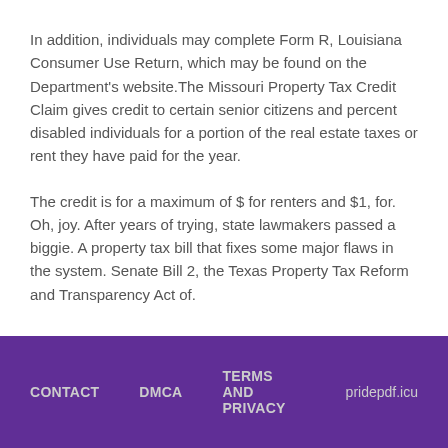In addition, individuals may complete Form R, Louisiana Consumer Use Return, which may be found on the Department's website.The Missouri Property Tax Credit Claim gives credit to certain senior citizens and percent disabled individuals for a portion of the real estate taxes or rent they have paid for the year.
The credit is for a maximum of $ for renters and $1, for. Oh, joy. After years of trying, state lawmakers passed a biggie. A property tax bill that fixes some major flaws in the system. Senate Bill 2, the Texas Property Tax Reform and Transparency Act of.
CONTACT   DMCA   TERMS AND PRIVACY   pridepdf.icu